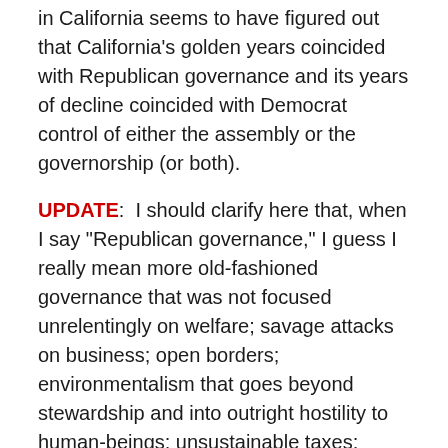in California seems to have figured out that California's golden years coincided with Republican governance and its years of decline coincided with Democrat control of either the assembly or the governorship (or both).
UPDATE:  I should clarify here that, when I say "Republican governance," I guess I really mean more old-fashioned governance that was not focused unrelentingly on welfare; savage attacks on business; open borders; environmentalism that goes beyond stewardship and into outright hostility to human-beings; unsustainable taxes; pension plans; etc.  In the old days, before the 1970s, whether a Democrat or a Republican occupied the governor's seat, and whether Democrats and or Republicans controlled the assembly, California was still governed within fairly traditional parameters — and it thrived.